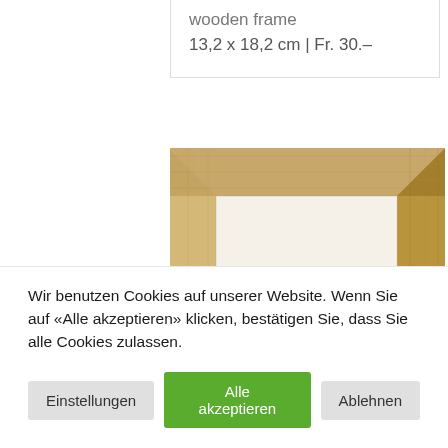wooden frame
13,2 x 18,2 cm | Fr. 30.–
[Figure (photo): Close-up photo of a light natural wooden picture frame showing the corner detail, with a light/cream colored mat board inside the frame. The wood grain texture is clearly visible.]
Wir benutzen Cookies auf unserer Website. Wenn Sie auf «Alle akzeptieren» klicken, bestätigen Sie, dass Sie alle Cookies zulassen.
Einstellungen
Alle akzeptieren
Ablehnen